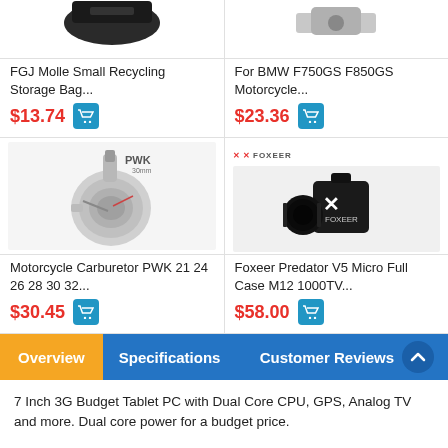[Figure (photo): FGJ Molle Small Recycling Storage Bag product image (partial top view of dark bag)]
FGJ Molle Small Recycling Storage Bag...
$13.74
[Figure (photo): For BMW F750GS F850GS Motorcycle product image (partial)]
For BMW F750GS F850GS Motorcycle...
$23.36
[Figure (photo): Motorcycle Carburetor PWK 21 24 26 28 30 32... product image]
Motorcycle Carburetor PWK 21 24 26 28 30 32...
$30.45
[Figure (logo): Foxeer logo]
[Figure (photo): Foxeer Predator V5 Micro Full Case M12 1000TV product image]
Foxeer Predator V5 Micro Full Case M12 1000TV...
$58.00
Overview  Specifications  Customer Reviews
7 Inch 3G Budget Tablet PC with Dual Core CPU, GPS, Analog TV and more. Dual core power for a budget price.